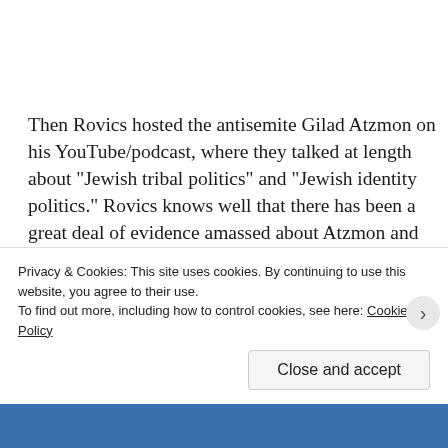Then Rovics hosted the antisemite Gilad Atzmon on his YouTube/podcast, where they talked at length about “Jewish tribal politics” and “Jewish identity politics.” Rovics knows well that there has been a great deal of evidence amassed about Atzmon and when he was confronted with it, both recently and historically, he has doubled down, refusing to deny Atzmon his support. Third, he appeared on the conspiracy podcast hosted by Kevin Barrett, who denied the Holocaust while Rovics was on his show; again, Rovics seemed to give him a...
Privacy & Cookies: This site uses cookies. By continuing to use this website, you agree to their use.
To find out more, including how to control cookies, see here: Cookie Policy
Close and accept